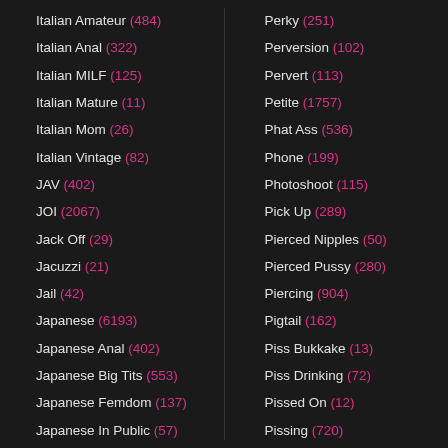Italian Amateur (484)
Italian Anal (322)
Italian MILF (125)
Italian Mature (11)
Italian Mom (26)
Italian Vintage (82)
JAV (402)
JOI (2067)
Jack Off (29)
Jacuzzi (21)
Jail (42)
Japanese (6193)
Japanese Anal (402)
Japanese Big Tits (553)
Japanese Femdom (137)
Japanese In Public (57)
Perky (251)
Perversion (102)
Pervert (113)
Petite (1757)
Phat Ass (536)
Phone (199)
Photoshoot (115)
Pick Up (289)
Pierced Nipples (50)
Pierced Pussy (280)
Piercing (904)
Pigtail (162)
Piss Bukkake (13)
Piss Drinking (72)
Pissed On (12)
Pissing (720)